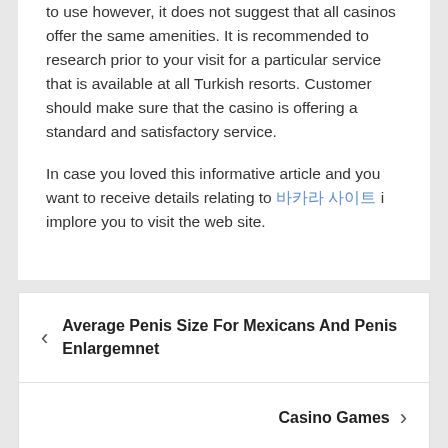to use however, it does not suggest that all casinos offer the same amenities. It is recommended to research prior to your visit for a particular service that is available at all Turkish resorts. Customer should make sure that the casino is offering a standard and satisfactory service.
In case you loved this informative article and you want to receive details relating to 바카라 사이트 i implore you to visit the web site.
Average Penis Size For Mexicans And Penis Enlargemnet
Casino Games